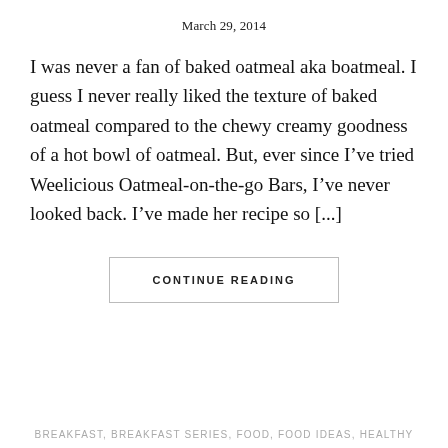March 29, 2014
I was never a fan of baked oatmeal aka boatmeal. I guess I never really liked the texture of baked oatmeal compared to the chewy creamy goodness of a hot bowl of oatmeal. But, ever since I’ve tried Weelicious Oatmeal-on-the-go Bars, I’ve never looked back. I’ve made her recipe so [...]
CONTINUE READING
BREAKFAST, BREAKFAST SERIES, FOOD, FOOD IDEAS, HEALTHY